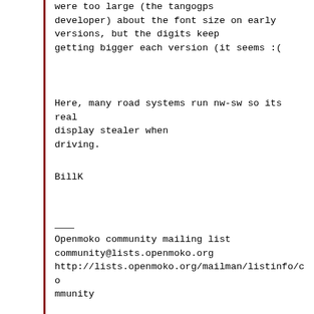were too large (the tangogps
developer) about the font size on early
versions, but the digits keep
getting bigger each version (it seems :(
Here, many road systems run nw-sw so its real
display stealer when
driving.
BillK
Openmoko community mailing list
community@lists.openmoko.org
http://lists.openmoko.org/mailman/listinfo/co
mmunity